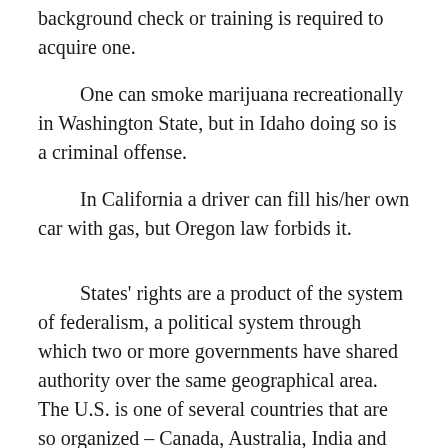background check or training is required to acquire one.
One can smoke marijuana recreationally in Washington State, but in Idaho doing so is a criminal offense.
In California a driver can fill his/her own car with gas, but Oregon law forbids it.
States' rights are a product of the system of federalism, a political system through which two or more governments have shared authority over the same geographical area. The U.S. is one of several countries that are so organized – Canada, Australia, India and Argentina among others – although the disposition of power differs among them. The American founders thought this system a suitable idea back in 1790 when the thirteenth state, Rhode